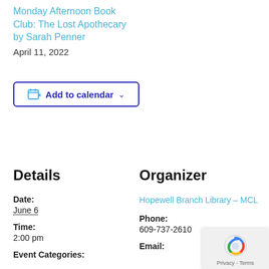Monday Afternoon Book Club: The Lost Apothecary by Sarah Penner
April 11, 2022
[Figure (other): Add to calendar button with calendar icon and dropdown chevron]
Details
Organizer
Date:
June 6
Hopewell Branch Library – MCL
Time:
2:00 pm
Phone:
609-737-2610
Event Categories:
Email: